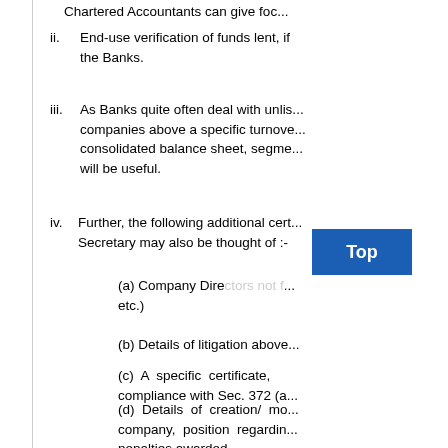Chartered Accountants can give foc...
ii. End-use verification of funds lent, if the Banks.
iii. As Banks quite often deal with unlisted companies above a specific turnover, consolidated balance sheet, segment... will be useful.
iv. Further, the following additional certificates from the Company Secretary may also be thought of :-
(a) Company Directors not f... etc.)
(b) Details of litigation above...
(c) A specific certificate, compliance with Sec. 372 (a...
(d) Details of creation/ mo... company, position regarding... penalties awarded.
v. As regards rotation of Auditors, for t... may be changed once every 5 years...